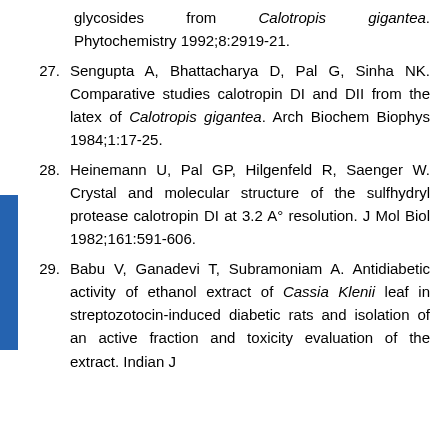glycosides from Calotropis gigantea. Phytochemistry 1992;8:2919-21.
27. Sengupta A, Bhattacharya D, Pal G, Sinha NK. Comparative studies calotropin DI and DII from the latex of Calotropis gigantea. Arch Biochem Biophys 1984;1:17-25.
28. Heinemann U, Pal GP, Hilgenfeld R, Saenger W. Crystal and molecular structure of the sulfhydryl protease calotropin DI at 3.2 A° resolution. J Mol Biol 1982;161:591-606.
29. Babu V, Ganadevi T, Subramoniam A. Antidiabetic activity of ethanol extract of Cassia Klenii leaf in streptozotocin-induced diabetic rats and isolation of an active fraction and toxicity evaluation of the extract. Indian J